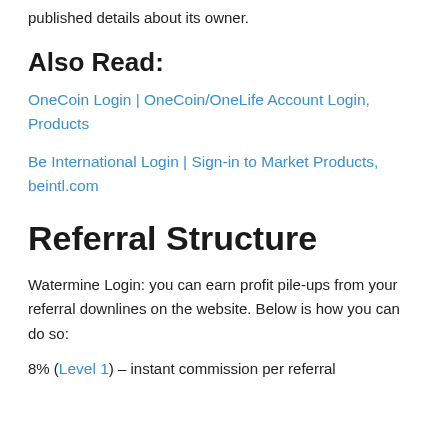published details about its owner.
Also Read:
OneCoin Login | OneCoin/OneLife Account Login, Products
Be International Login | Sign-in to Market Products, beintl.com
Referral Structure
Watermine Login: you can earn profit pile-ups from your referral downlines on the website. Below is how you can do so:
8% (Level 1) – instant commission per referral